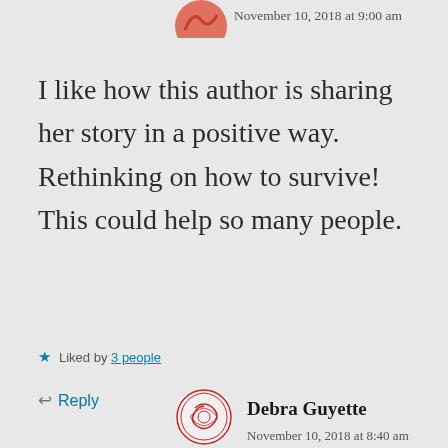November 10, 2018 at 9:00 am
I like how this author is sharing her story in a positive way. Rethinking on how to survive! This could help so many people.
Liked by 3 people
Reply
Debra Guyette
November 10, 2018 at 8:40 am